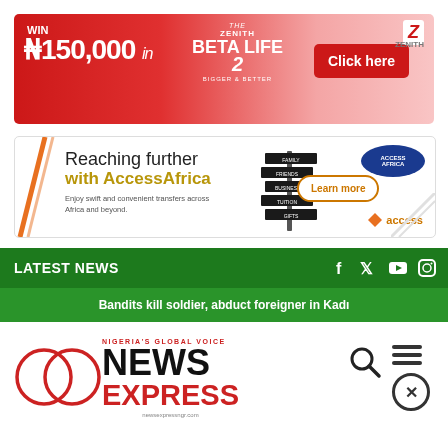[Figure (advertisement): Zenith Bank Beta Life 2 advertisement: WIN ₦150,000 in THE ZENITH BETA LIFE 2 BIGGER & BETTER with a Click here button and an image of a woman celebrating.]
[Figure (advertisement): Access Bank AccessAfrica advertisement: Reaching further with AccessAfrica. Enjoy swift and convenient transfers across Africa and beyond. Learn more button with signpost image and Access Africa logo.]
LATEST NEWS
Bandits kill soldier, abduct foreigner in Kadı
[Figure (logo): News Express Nigeria logo: circular overlapping rings, NIGERIA'S GLOBAL VOICE, NEWS EXPRESS, newsexpressngr.com]
[Figure (other): Navigation icons: search magnifier and hamburger/close (X) menu icon]